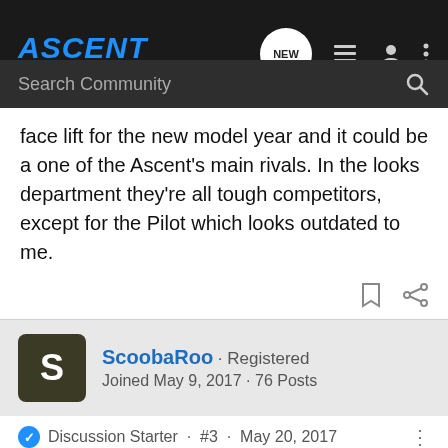ASCENT FORUMS.COM — navigation bar with search
face lift for the new model year and it could be a one of the Ascent's main rivals. In the looks department they're all tough competitors, except for the Pilot which looks outdated to me.
ScoobaRoo · Registered
Joined May 9, 2017 · 76 Posts
Discussion Starter · #3 · May 20, 2017
Chevy is definitely stepping the game up these days and their new design approach is looking like a winner. That being said, a lot of manufacturers now are stepping their game up and